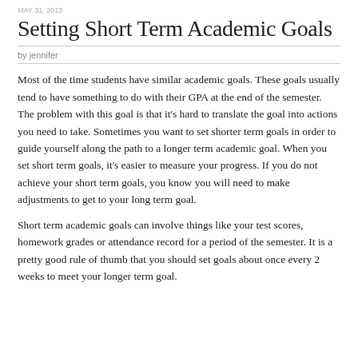MAY 31, 2013
Setting Short Term Academic Goals
by jennifer
Most of the time students have similar academic goals. These goals usually tend to have something to do with their GPA at the end of the semester. The problem with this goal is that it's hard to translate the goal into actions you need to take. Sometimes you want to set shorter term goals in order to guide yourself along the path to a longer term academic goal. When you set short term goals, it's easier to measure your progress. If you do not achieve your short term goals, you know you will need to make adjustments to get to your long term goal.
Short term academic goals can involve things like your test scores, homework grades or attendance record for a period of the semester. It is a pretty good rule of thumb that you should set goals about once every 2 weeks to meet your longer term goal.